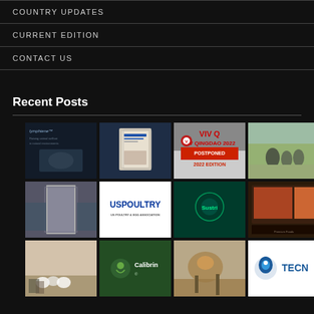COUNTRY UPDATES
CURRENT EDITION
CONTACT US
Recent Posts
[Figure (photo): Grid of 12 thumbnail images related to agriculture, poultry, livestock, and industry brands including Lymphiene, VIV Qingdao 2022 Postponed, USPoultry, Sustri, Calibrin, and Tecno logos]
[Figure (photo): Book/publication thumbnail]
[Figure (photo): VIV Qingdao 2022 Postponed 2022 Edition]
[Figure (photo): People with cattle in field]
[Figure (photo): Livestock handling equipment]
[Figure (logo): USPoultry logo on white background]
[Figure (photo): Sustri brand with green tech theme]
[Figure (photo): Meat/food product image]
[Figure (photo): Sheep at livestock show]
[Figure (logo): Calibrin brand logo]
[Figure (photo): Horse/cattle feeding]
[Figure (logo): Tecno logo on white background]